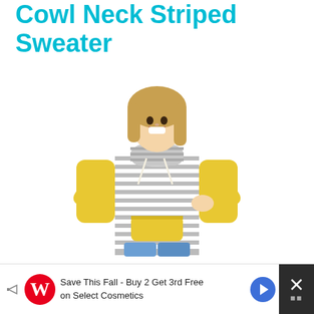Cowl Neck Striped Sweater
[Figure (photo): Woman wearing a yellow and gray striped cowl neck sweater with a front kangaroo pocket and drawstring, paired with blue jeans. The sweater has yellow sleeves and sides with a gray and white striped body.]
Material: 65% Polyester & 35% Cotton
Save This Fall - Buy 2 Get 3rd Free on Select Cosmetics